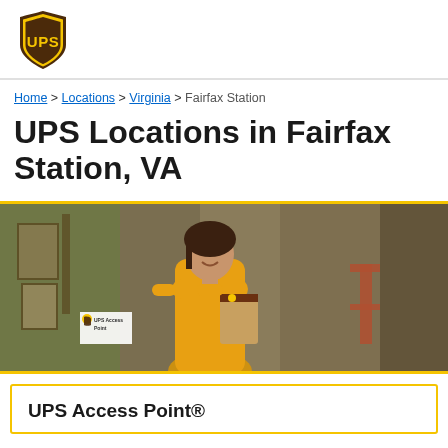UPS logo
Home > Locations > Virginia > Fairfax Station
UPS Locations in Fairfax Station, VA
[Figure (photo): Woman in yellow turtleneck sweater holding a UPS package, standing outside a shop with antiques visible through the window. A UPS Access Point sign is visible in the store window.]
UPS Access Point®